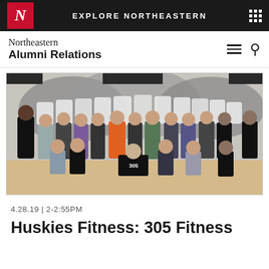EXPLORE NORTHEASTERN
Northeastern Alumni Relations
[Figure (photo): Group photo of approximately 25 people posing together in a fitness studio with a large mural of teeth/smile in the background. People are wearing athletic/workout clothing. One person in front wears a '305' shirt.]
4.28.19 | 2-2:55PM
Huskies Fitness: 305 Fitness